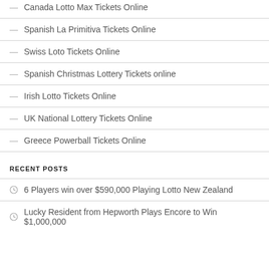Canada Lotto Max Tickets Online
Spanish La Primitiva Tickets Online
Swiss Loto Tickets Online
Spanish Christmas Lottery Tickets online
Irish Lotto Tickets Online
UK National Lottery Tickets Online
Greece Powerball Tickets Online
RECENT POSTS
6 Players win over $590,000 Playing Lotto New Zealand
Lucky Resident from Hepworth Plays Encore to Win $1,000,000